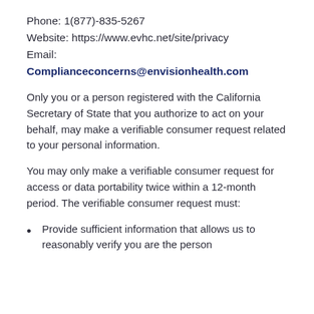Phone: 1(877)-835-5267
Website: https://www.evhc.net/site/privacy
Email:
Complianceconcerns@envisionhealth.com
Only you or a person registered with the California Secretary of State that you authorize to act on your behalf, may make a verifiable consumer request related to your personal information.
You may only make a verifiable consumer request for access or data portability twice within a 12-month period. The verifiable consumer request must:
Provide sufficient information that allows us to reasonably verify you are the person